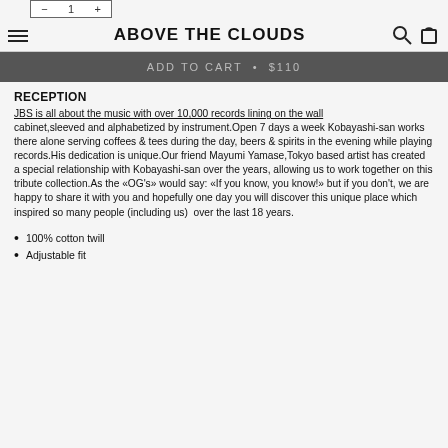ABOVE THE CLOUDS
ADD TO CART • $110
RECEPTION
JBS is all about the music with over 10,000 records lining on the wall cabinet,sleeved and alphabetized by instrument.Open 7 days a week Kobayashi-san works there alone serving coffees & tees during the day, beers & spirits in the evening while playing records.His dedication is unique.Our friend Mayumi Yamase,Tokyo based artist has created  a special relationship with Kobayashi-san over the years, allowing us to work together on this tribute collection.As the «OG's» would say: «If you know, you know!» but if you don't, we are happy to share it with you and hopefully one day you will discover this unique place which inspired so many people (including us)  over the last 18 years.
100% cotton twill
Adjustable fit